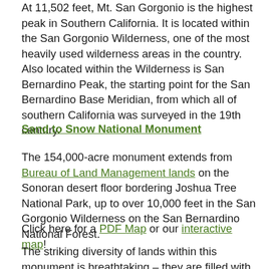At 11,502 feet, Mt. San Gorgonio is the highest peak in Southern California. It is located within the San Gorgonio Wilderness, one of the most heavily used wilderness areas in the country. Also located within the Wilderness is San Bernardino Peak, the starting point for the San Bernardino Base Meridian, from which all of southern California was surveyed in the 19th century.
Sand to Snow National Monument
The 154,000-acre monument extends from Bureau of Land Management lands on the Sonoran desert floor bordering Joshua Tree National Park, up to over 10,000 feet in the San Gorgonio Wilderness on the San Bernardino National Forest.
Click here for a PDF Map or our interactive map!
The striking diversity of lands within this monument is breathtaking – they are filled with the stories of ancient peoples, soaring mountain peaks, critical wildlife corridors